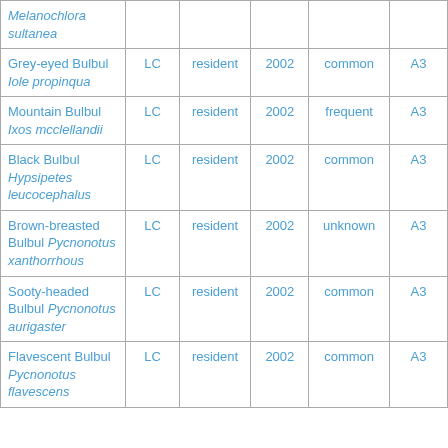| Melanochlora sultanea |  |  |  |  |  |
| Grey-eyed Bulbul Iole propinqua | LC | resident | 2002 | common | A3 |
| Mountain Bulbul Ixos mcclellandii | LC | resident | 2002 | frequent | A3 |
| Black Bulbul Hypsipetes leucocephalus | LC | resident | 2002 | common | A3 |
| Brown-breasted Bulbul Pycnonotus xanthorrhous | LC | resident | 2002 | unknown | A3 |
| Sooty-headed Bulbul Pycnonotus aurigaster | LC | resident | 2002 | common | A3 |
| Flavescent Bulbul Pycnonotus flavescens | LC | resident | 2002 | common | A3 |